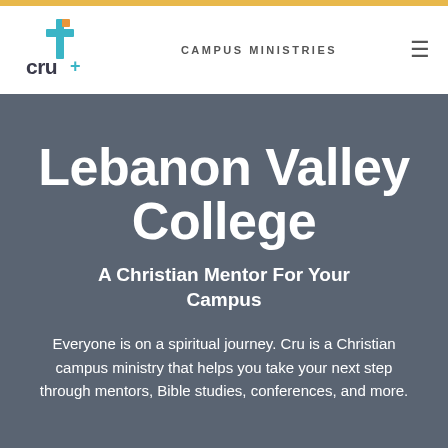CAMPUS MINISTRIES
[Figure (logo): Cru logo with cross symbol in teal and orange colors]
Lebanon Valley College
A Christian Mentor For Your Campus
Everyone is on a spiritual journey. Cru is a Christian campus ministry that helps you take your next step through mentors, Bible studies, conferences, and more.